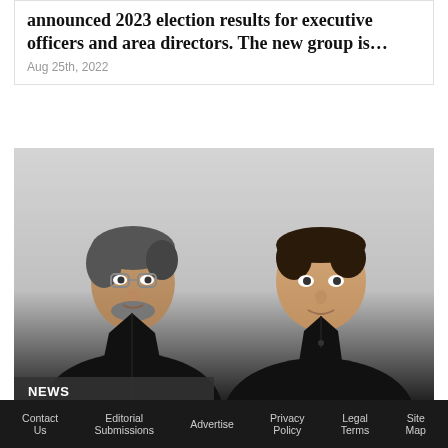announced 2023 election results for executive officers and area directors. The new group is…
Aug 25th, 2022
[Figure (photo): Two men in black clothing standing against a light gray background. Left: older man with glasses and gray-streaked hair wearing a black jacket. Right: middle-aged man in a black polo shirt.]
NEWS
Manscaped Appoints New Chief Revenue Officer and Chief Marketing Officer
Contact Us  Editorial Submissions  Advertise  Privacy Policy  Legal Terms  Site Map